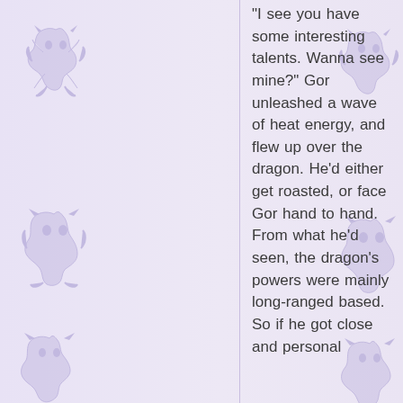"I see you have some interesting talents. Wanna see mine?" Gor unleashed a wave of heat energy, and flew up over the dragon. He'd either get roasted, or face Gor hand to hand. From what he'd seen, the dragon's powers were mainly long-ranged based. So if he got close and personal